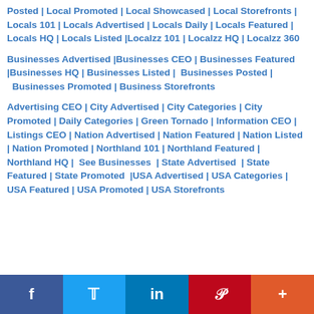Posted | Local Promoted | Local Showcased | Local Storefronts | Locals 101 | Locals Advertised | Locals Daily | Locals Featured |  Locals HQ | Locals Listed |Localzz 101 | Localzz HQ | Localzz 360
Businesses Advertised |Businesses CEO | Businesses Featured |Businesses HQ | Businesses Listed |  Businesses Posted |  Businesses Promoted | Business Storefronts
Advertising CEO | City Advertised | City Categories | City Promoted | Daily Categories | Green Tornado | Information CEO | Listings CEO | Nation Advertised | Nation Featured | Nation Listed | Nation Promoted | Northland 101 | Northland Featured | Northland HQ |  See Businesses  | State Advertised  | State Featured | State Promoted  |USA Advertised | USA Categories | USA Featured | USA Promoted | USA Storefronts
f | Twitter | in | Pinterest | +